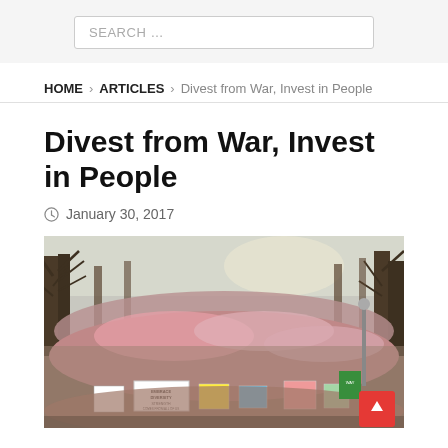SEARCH …
HOME > ARTICLES > Divest from War, Invest in People
Divest from War, Invest in People
January 30, 2017
[Figure (photo): Large crowd of protesters marching down a tree-lined street, holding signs and banners including one reading 'DIVERSITY STRENGTH COMES FROM ALL OF US', with bare winter trees in the background and people packed densely filling the entire street.]